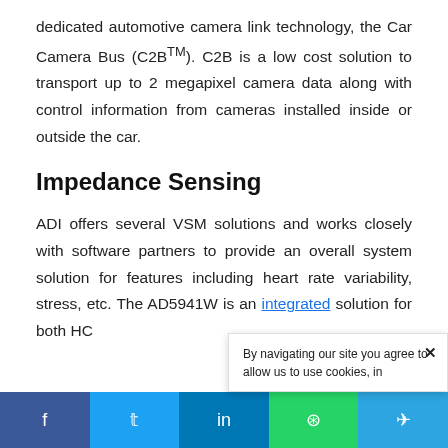dedicated automotive camera link technology, the Car Camera Bus (C2BTM). C2B is a low cost solution to transport up to 2 megapixel camera data along with control information from cameras installed inside or outside the car.
Impedance Sensing
ADI offers several VSM solutions and works closely with software partners to provide an overall system solution for features including heart rate variability, stress, etc. The AD5941W is an integrated solution for both HC...